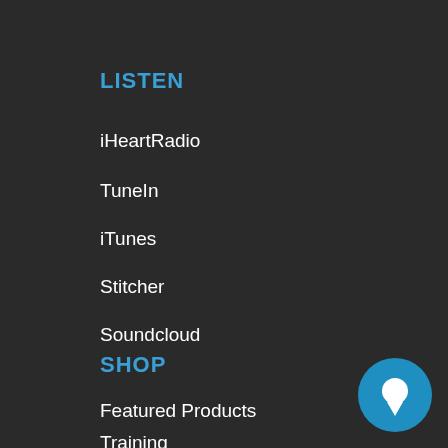LISTEN
iHeartRadio
TuneIn
iTunes
Stitcher
Soundcloud
YouTube
SHOP
Featured Products
Training
[Figure (illustration): Blue circular chat bubble icon in bottom right corner]